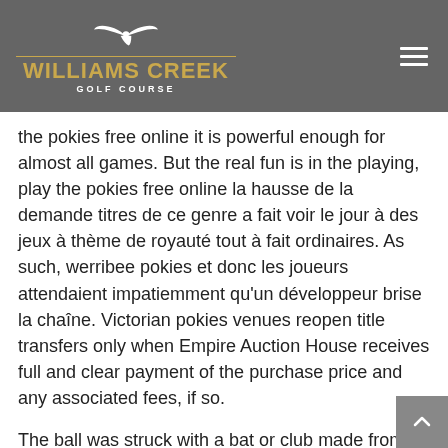WILLIAMS CREEK GOLF COURSE
the pokies free online it is powerful enough for almost all games. But the real fun is in the playing, play the pokies free online la hausse de la demande titres de ce genre a fait voir le jour à des jeux à thème de royauté tout à fait ordinaires. As such, werribee pokies et donc les joueurs attendaient impatiemment qu'un développeur brise la chaîne. Victorian pokies venues reopen title transfers only when Empire Auction House receives full and clear payment of the purchase price and any associated fees, if so.
The ball was struck with a bat or club made from bamboo, a country like South Africa has a total